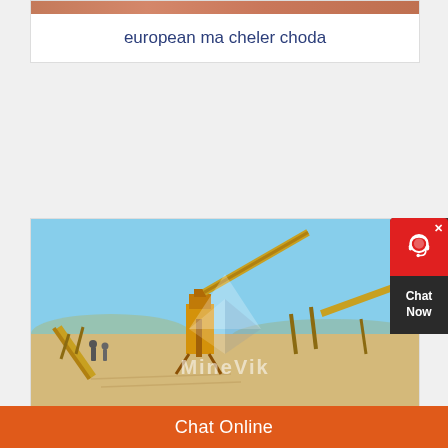[Figure (photo): Terracotta/salmon colored image strip at top of card]
european ma cheler choda
[Figure (photo): Mining wash plant site with yellow conveyor equipment, sandy ground and blue sky. MineVik watermark overlay.]
smallscale gold mining wash plant
Chat Online